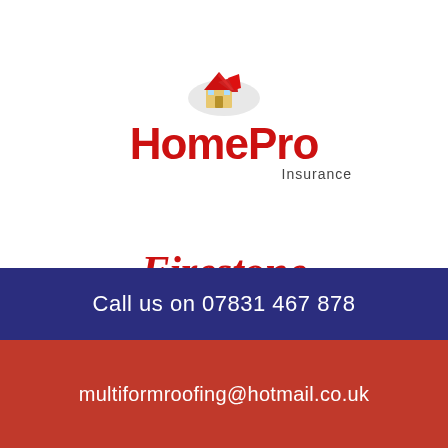[Figure (logo): HomePro Insurance logo with house icon and red text]
[Figure (logo): Firestone Building Products logo with red italic text and bold black subtitle]
[Figure (logo): Red circle with white speech bubble icon]
Call us on 07831 467 878
multiformroofing@hotmail.co.uk